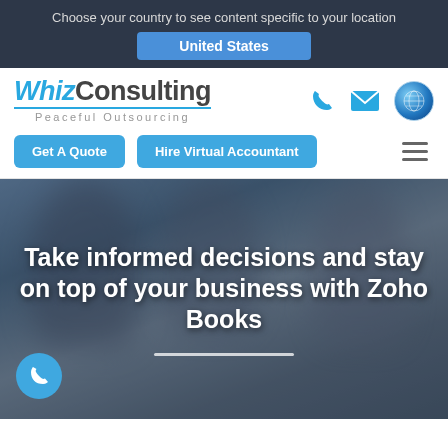Choose your country to see content specific to your location
United States
[Figure (logo): WhizConsulting logo with tagline 'Peaceful Outsourcing']
Get A Quote
Hire Virtual Accountant
Take informed decisions and stay on top of your business with Zoho Books